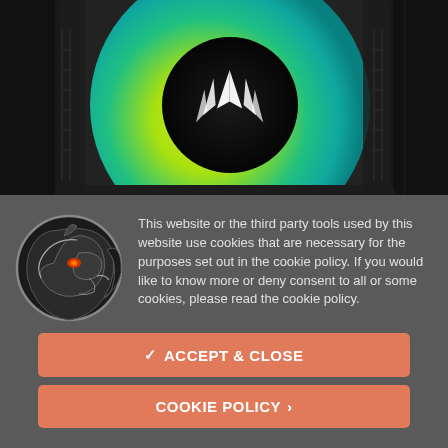[Figure (photo): Close-up photo of a Corsair RGB CPU cooler fan with yellow-green to teal RGB lighting gradient and Corsair logo in the center hub, mounted in a black frame]
[Figure (logo): Black and white circular logo of a stylized dragon head (horse/dragon) with orange glowing eyes and white outline, on a dark gray background]
This website or the third party tools used by this website use cookies that are necessary for the purposes set out in the cookie policy. If you would like to know more or deny consent to all or some cookies, please read the cookie policy.
✔ ACCEPT & CLOSE
COOKIE POLICY ›